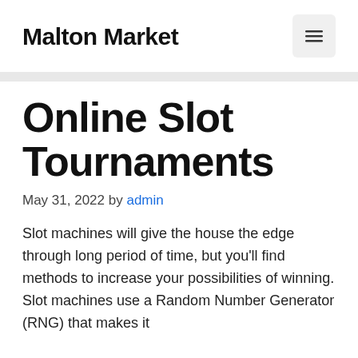Malton Market
Online Slot Tournaments
May 31, 2022 by admin
Slot machines will give the house the edge through long period of time, but you'll find methods to increase your possibilities of winning. Slot machines use a Random Number Generator (RNG) that makes it